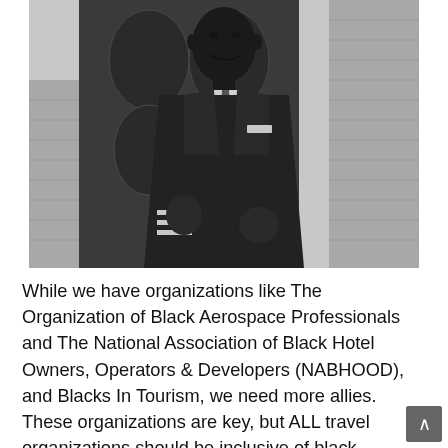[Figure (photo): Black and white photograph of a Black man in a pilot or airline officer uniform with wings badge on chest and stripe cuffs, standing in front of an ornate dark door and brick wall, smiling at the camera.]
While we have organizations like The Organization of Black Aerospace Professionals and The National Association of Black Hotel Owners, Operators & Developers (NABHOOD), and Blacks In Tourism, we need more allies. These organizations are key, but ALL travel organizations should be inclusive of black people. Travel missions should be for everyone.